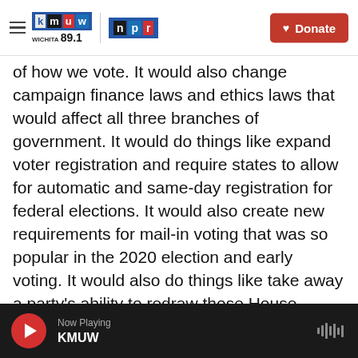KMUW Wichita 89.1 | NPR | Donate
of how we vote. It would also change campaign finance laws and ethics laws that would affect all three branches of government. It would do things like expand voter registration and require states to allow for automatic and same-day registration for federal elections. It would also create new requirements for mail-in voting that was so popular in the 2020 election and early voting. It would also do things like take away a party's ability to redraw those House congressional district lines every 10 years and mandate that power be given to independent commissions across the country. It would also require more disclosure for political
Now Playing KMUW